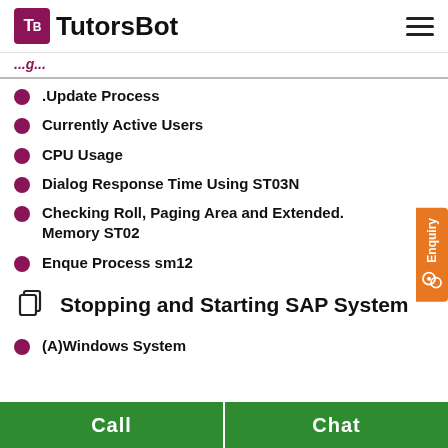TutorsBot
(partial section heading visible)
.Update Process
Currently Active Users
CPU Usage
Dialog Response Time Using ST03N
Checking Roll, Paging Area and Extended. Memory ST02
Enque Process sm12
Stopping and Starting SAP System
(A)Windows System
Call   Chat